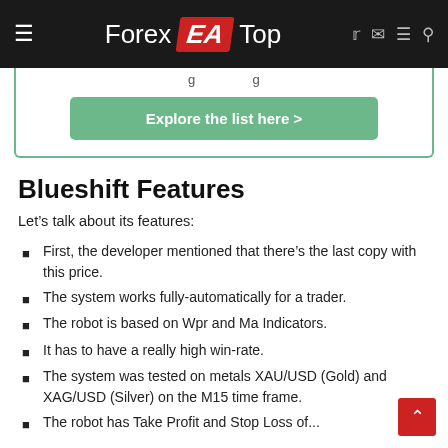Forex EA Top
[Figure (other): Partial content with 'Explore the list here >' green button inside a bordered box]
Blueshift Features
Let’s talk about its features:
First, the developer mentioned that there’s the last copy with this price.
The system works fully-automatically for a trader.
The robot is based on Wpr and Ma Indicators.
It has to have a really high win-rate.
The system was tested on metals XAU/USD (Gold) and XAG/USD (Silver) on the M15 time frame.
The robot has a Take Profit and Stop Loss of...